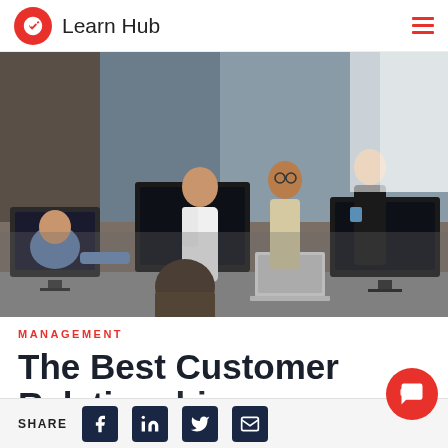Learn Hub
[Figure (photo): Office workspace scene with multiple people around computers and monitors. Several professionals standing and discussing while others are seated at desks with laptops and monitors.]
MANAGEMENT
The Best Customer Relationship...
SHARE